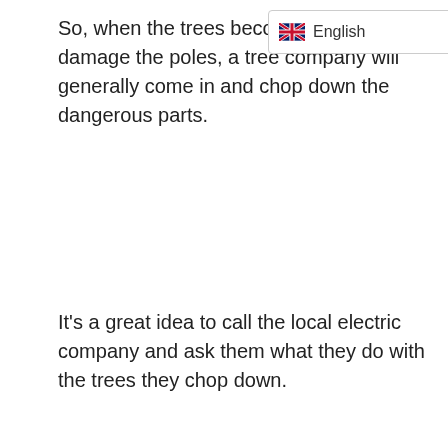So, when the trees beco… could potentially damage the poles, a tree company will generally come in and chop down the dangerous parts.
[Figure (screenshot): English language selector dropdown with UK flag]
It's a great idea to call the local electric company and ask them what they do with the trees they chop down.
[Figure (other): Advertisement placeholder box with three dots at bottom center]